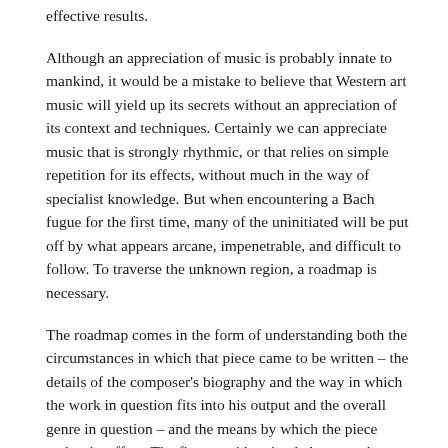effective results.
Although an appreciation of music is probably innate to mankind, it would be a mistake to believe that Western art music will yield up its secrets without an appreciation of its context and techniques. Certainly we can appreciate music that is strongly rhythmic, or that relies on simple repetition for its effects, without much in the way of specialist knowledge. But when encountering a Bach fugue for the first time, many of the uninitiated will be put off by what appears arcane, impenetrable, and difficult to follow. To traverse the unknown region, a roadmap is necessary.
The roadmap comes in the form of understanding both the circumstances in which that piece came to be written – the details of the composer's biography and the way in which the work in question fits into his output and the overall genre in question – and the means by which the piece makes its effect. The first consideration belongs to the